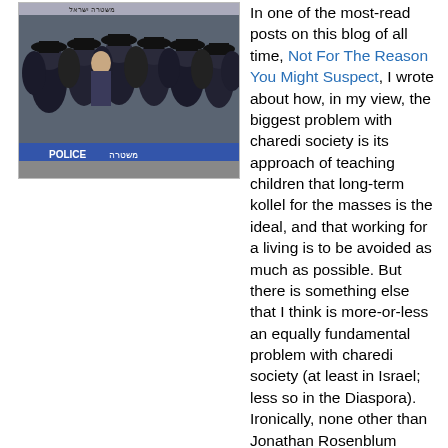[Figure (photo): Group of Haredi Jewish men in black hats and coats gathered near a police barrier, with Hebrew signage visible in background.]
In one of the most-read posts on this blog of all time, Not For The Reason You Might Suspect, I wrote about how, in my view, the biggest problem with charedi society is its approach of teaching children that long-term kollel for the masses is the ideal, and that working for a living is to be avoided as much as possible. But there is something else that I think is more-or-less an equally fundamental problem with charedi society (at least in Israel; less so in the Diaspora). Ironically, none other than Jonathan Rosenblum acknowledged it, albeit without properly describing the extent of the problem:
In the more than two centuries since the ghetto walls began to fall, Torah communities have often had to fight to preserve themselves. Those that followed the principle of separation from larger communal frameworks were usually the most